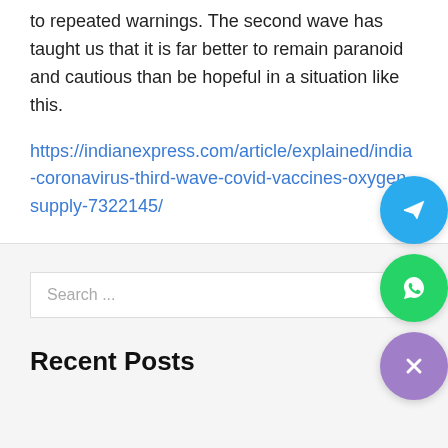to repeated warnings. The second wave has taught us that it is far better to remain paranoid and cautious than be hopeful in a situation like this.
https://indianexpress.com/article/explained/india-coronavirus-third-wave-covid-vaccines-oxygen-supply-7322145/
Search ...
Recent Posts
[Figure (other): Three floating social/action buttons on the right side: Telegram (blue circle with paper plane icon), WhatsApp (green circle with phone/chat icon), and a close/dismiss button (purple circle with X icon).]